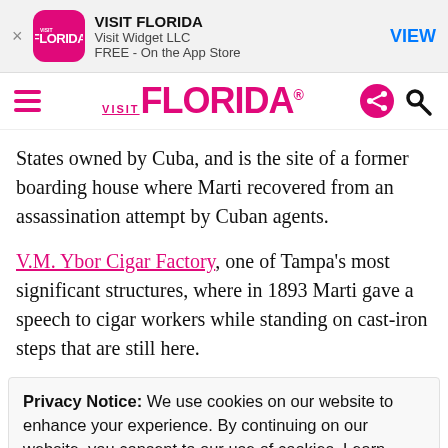[Figure (screenshot): App store banner for VISIT FLORIDA app by Visit Widget LLC, FREE on the App Store, with a VIEW button]
VISIT FLORIDA navigation bar with hamburger menu, VISIT FLORIDA logo in pink, share and search icons
States owned by Cuba, and is the site of a former boarding house where Marti recovered from an assassination attempt by Cuban agents.
V.M. Ybor Cigar Factory, one of Tampa's most significant structures, where in 1893 Marti gave a speech to cigar workers while standing on cast-iron steps that are still here.
Privacy Notice: We use cookies on our website to enhance your experience. By continuing on our website, you consent to our use of cookies. Learn more in our Cookie Notice and our Privacy Policy.